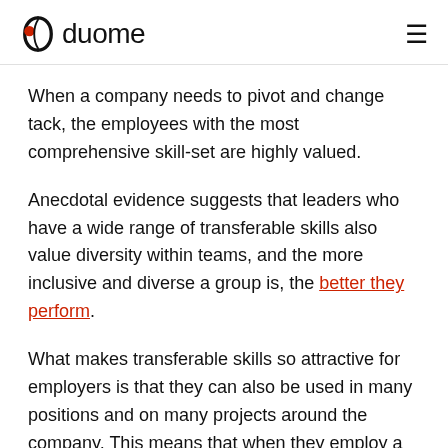duome
When a company needs to pivot and change tack, the employees with the most comprehensive skill-set are highly valued.
Anecdotal evidence suggests that leaders who have a wide range of transferable skills also value diversity within teams, and the more inclusive and diverse a group is, the better they perform.
What makes transferable skills so attractive for employers is that they can also be used in many positions and on many projects around the company. This means that when they employ a